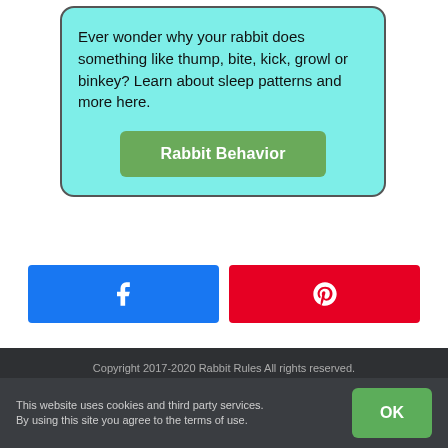Ever wonder why your rabbit does something like thump, bite, kick, growl or binkey? Learn about sleep patterns and more here.
Rabbit Behavior
[Figure (other): Facebook share button (blue) with white Facebook 'f' icon]
[Figure (other): Pinterest share button (red) with white Pinterest 'P' icon]
Copyright 2017-2020 Rabbit Rules All rights reserved.
This website uses cookies and third party services. By using this site you agree to the terms of use.